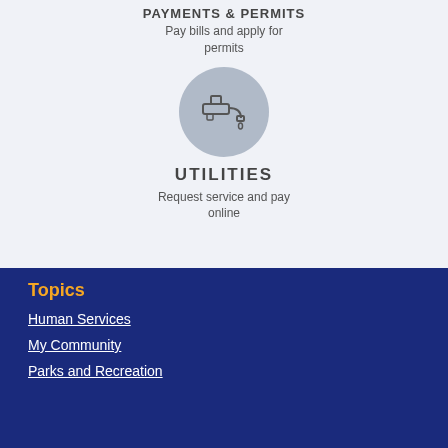PAYMENTS & PERMITS
Pay bills and apply for permits
[Figure (illustration): Circle icon with a water faucet/tap dripping water]
UTILITIES
Request service and pay online
Topics
Human Services
My Community
Parks and Recreation